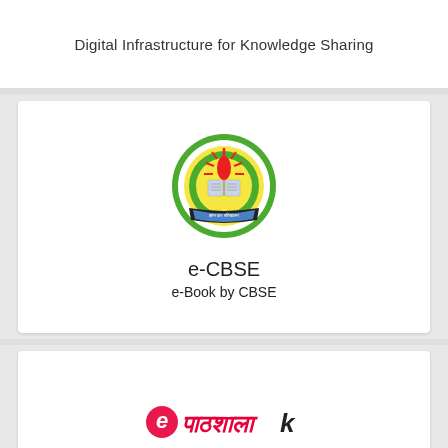Digital Infrastructure for Knowledge Sharing
[Figure (logo): CBSE (Central Board of Secondary Education) circular logo with green border, open book and flame in center, text around the border]
e-CBSE
e-Book by CBSE
[Figure (logo): e-Pathshala logo in colorful text with Hindi script and a stylized letter K]